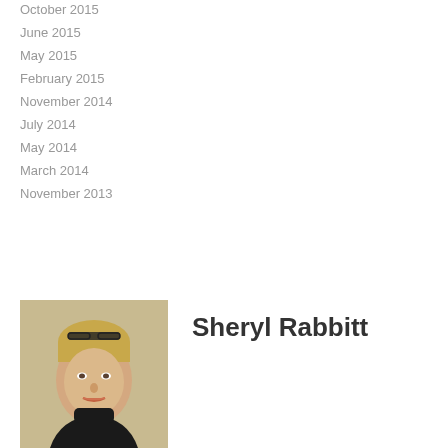October 2015
June 2015
May 2015
February 2015
November 2014
July 2014
May 2014
March 2014
November 2013
[Figure (photo): Portrait photo of Sheryl Rabbitt, a blonde woman with glasses on her head, wearing a black turtleneck, against a light background]
Sheryl Rabbitt